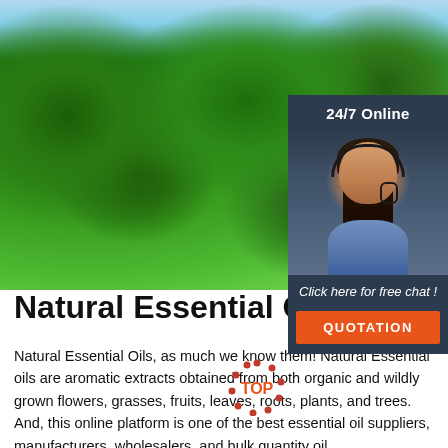[Figure (photo): Green tree canopy with blue sky background, lush conifer/fern trees photographed from below looking up]
[Figure (infographic): 24/7 Online chat widget with woman wearing headset, 'Click here for free chat!' text and orange QUOTATION button on dark slate background]
Natural Essential Oils
Natural Essential Oils, as much we know them! Natural Essential oils are aromatic extracts obtained from both organic and wildly grown flowers, grasses, fruits, leaves, roots, plants, and trees. And, this online platform is one of the best essential oil suppliers, manufacturers, wholesalers, and bulk quantity oil